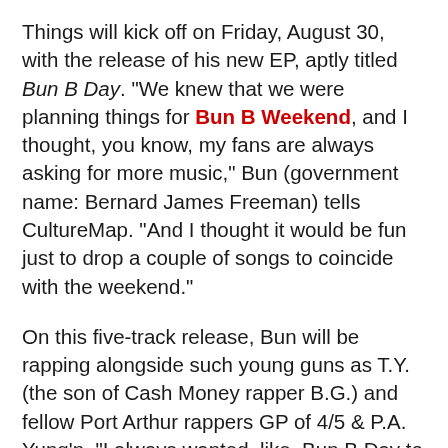Things will kick off on Friday, August 30, with the release of his new EP, aptly titled Bun B Day. "We knew that we were planning things for Bun B Weekend, and I thought, you know, my fans are always asking for more music," Bun (government name: Bernard James Freeman) tells CultureMap. "And I thought it would be fun just to drop a couple of songs to coincide with the weekend."
On this five-track release, Bun will be rapping alongside such young guns as T.Y. (the son of Cash Money rapper B.G.) and fellow Port Arthur rappers GP of 4/5 & P.A. Yung'n. "I always wanted, like, Bun B Day to be a day where you kinda gave back, right? So, I thought what would be a good way to give back to the hip-hop community if I'm gonna drop music on Bun B Day. And, so, I came up with the idea of only having young artists from the